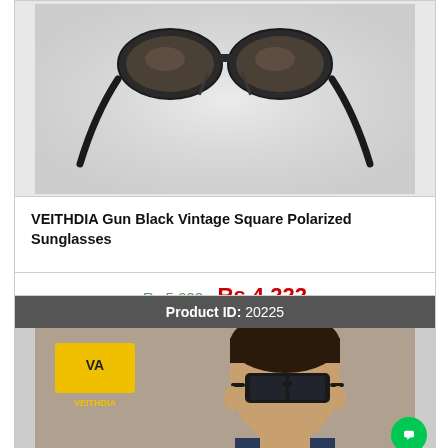[Figure (photo): Sunglasses product image showing black frame vintage square sunglasses from above on grey background]
VEITHDIA Gun Black Vintage Square Polarized Sunglasses
Rs 5,622  Rs 4,222
► BUY NOW
Product ID: 20225
[Figure (photo): Man wearing dark square sunglasses with VEITHDIA logo visible in upper left corner]